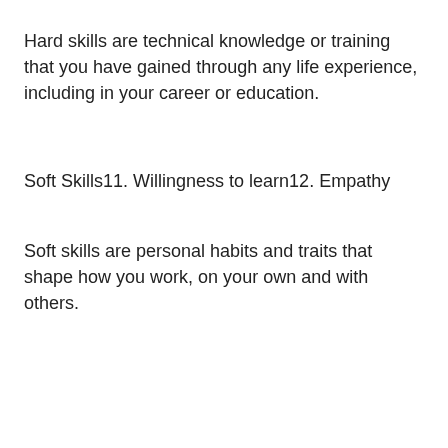Hard skills are technical knowledge or training that you have gained through any life experience, including in your career or education.
Soft Skills11. Willingness to learn12. Empathy
Soft skills are personal habits and traits that shape how you work, on your own and with others.